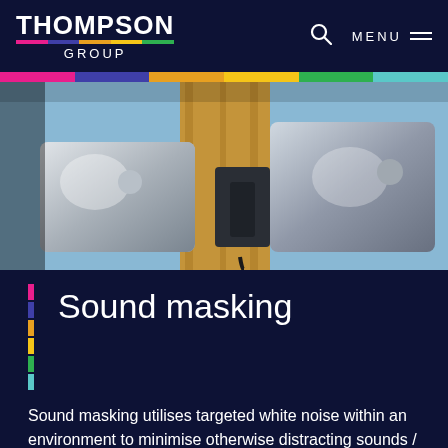THOMPSON GROUP — navigation bar with search and menu
[Figure (photo): Close-up photograph of two metallic horn/speaker units mounted on a wooden post against a blue sky background]
Sound masking
Sound masking utilises targeted white noise within an environment to minimise otherwise distracting sounds / speech